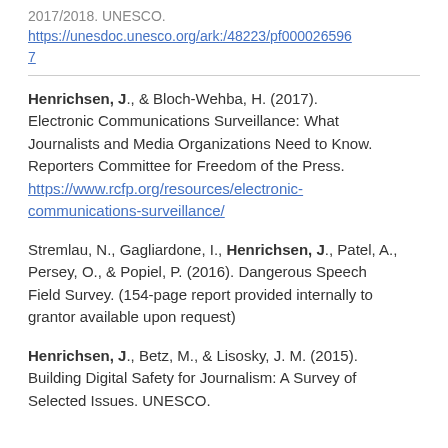2017/2018. UNESCO. https://unesdoc.unesco.org/ark:/48223/pf0000265967
Henrichsen, J., & Bloch-Wehba, H. (2017). Electronic Communications Surveillance: What Journalists and Media Organizations Need to Know. Reporters Committee for Freedom of the Press. https://www.rcfp.org/resources/electronic-communications-surveillance/
Stremlau, N., Gagliardone, I., Henrichsen, J., Patel, A., Persey, O., & Popiel, P. (2016). Dangerous Speech Field Survey. (154-page report provided internally to grantor available upon request)
Henrichsen, J., Betz, M., & Lisosky, J. M. (2015). Building Digital Safety for Journalism: A Survey of Selected Issues. UNESCO.